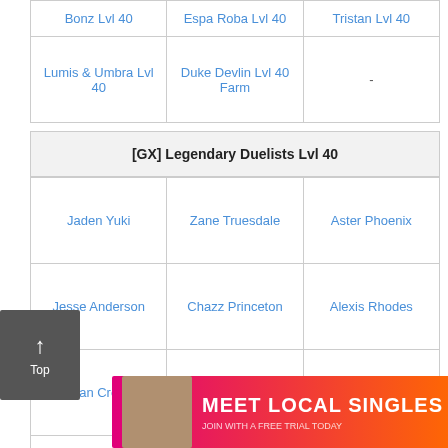| Bonz Lvl 40 | Espa Roba Lvl 40 | Tristan Lvl 40 |
| --- | --- | --- |
| Lumis & Umbra Lvl 40 | Duke Devlin Lvl 40 Farm | - |
[GX] Legendary Duelists Lvl 40
| Jaden Yuki | Zane Truesdale | Aster Phoenix |
| --- | --- | --- |
| Jesse Anderson | Chazz Princeton | Alexis Rhodes |
| Vellian Crowler | Bastion Misawa | Syrus Truesdale |
| Tyranno Hassleberry | Sartorius Kumar | Yubel |
| Ja... |  | ...Lvl 40 |
[Figure (screenshot): Top navigation button on left side]
[Figure (screenshot): Meet Local Singles advertisement banner with Clover app branding]